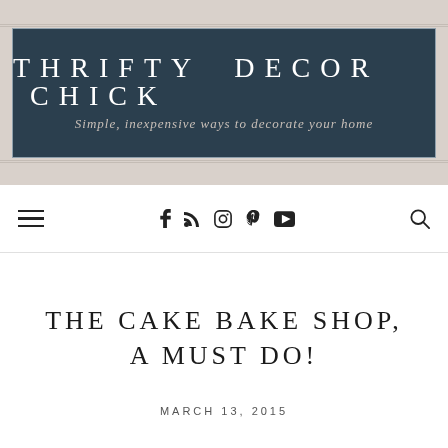[Figure (logo): Thrifty Decor Chick blog logo — dark teal/navy rectangle with white uppercase spaced text 'THRIFTY DECOR CHICK' and cursive subtitle 'Simple, inexpensive ways to decorate your home', set on a light beige background]
Navigation bar with hamburger menu, social icons (Facebook, RSS, Instagram, Pinterest, YouTube), and search icon
THE CAKE BAKE SHOP, A MUST DO!
MARCH 13, 2015